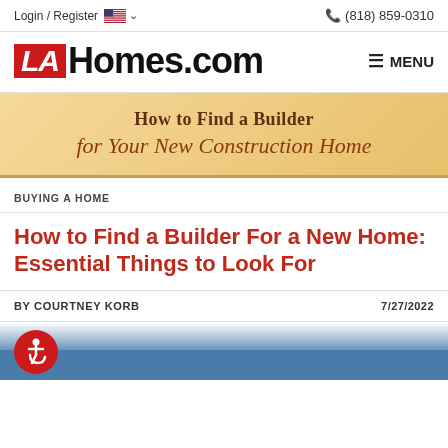Login / Register  🇺🇸 ∨       📞 (818) 859-0310
LAHomes.com   ≡ MENU
[Figure (illustration): Banner image with sandy/golden gradient background and text: 'How to Find a Builder for Your New Construction Home']
BUYING A HOME
How to Find a Builder For a New Home: Essential Things to Look For
BY COURTNEY KORB    7/27/2022
[Figure (photo): Bottom strip showing accessibility icon (red circle with wheelchair symbol) on left, and partial photo of house with palm trees on blue sky background]